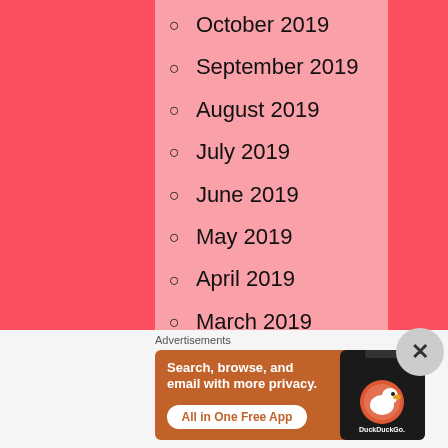October 2019
September 2019
August 2019
July 2019
June 2019
May 2019
April 2019
March 2019
February 2019
January 2019
Advertisements
[Figure (screenshot): DuckDuckGo advertisement banner: 'Search, browse, and email with more privacy. All in One Free App' with DuckDuckGo logo on a phone mockup]